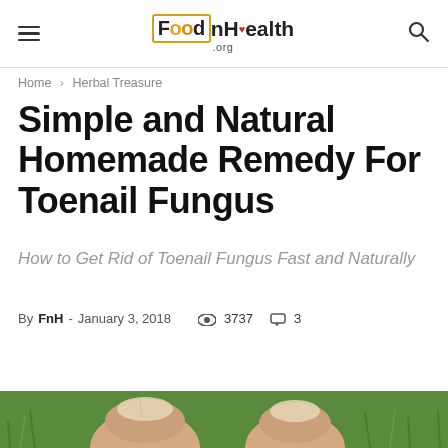FoodnHealth.org
Home › Herbal Treasure
Simple and Natural Homemade Remedy For Toenail Fungus
How to Get Rid of Toenail Fungus Fast and Naturally
By FnH - January 3, 2018  👁 3737  💬 3
Tweet
[Figure (photo): Close-up photo of two toes with toenail fungus held up against a green grassy background]